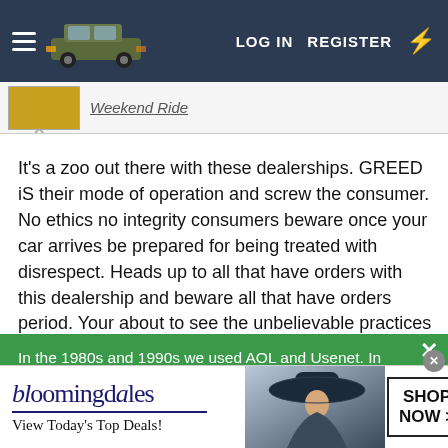LOG IN   REGISTER
[Figure (screenshot): Website navigation bar with hamburger menu, Kia Telluride car image, LOG IN, REGISTER links and lightning bolt icon on dark blue background]
[Figure (screenshot): Thumbnail strip showing a small yellow car image and link text 'Weekend Ride' with a caret arrow below]
It's a zoo out there with these dealerships. GREED iS their mode of operation and screw the consumer. No ethics no integrity consumers beware once your car arrives be prepared for being treated with disrespect. Heads up to all that have orders with this dealership and beware all that have orders period. Your about to see the unbelievable practices of
In the 1980s and 1990s we used AOL and Usenet. In the 2000s there were forums and message boards. In the 2010s - and until the very near future - social media. Sal, the Administrator of this community, has something new coming for Telluride drivers... Become an early adopter of what's next by SIGNING UP HERE. Your email address will
[Figure (screenshot): Bloomingdale's advertisement banner showing the Bloomingdale's logo, 'View Today's Top Deals!', a woman with a wide-brim hat photo, and a SHOP NOW button]